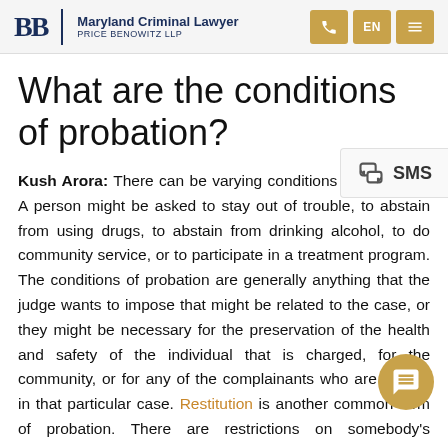Maryland Criminal Lawyer | Price Benowitz LLP
What are the conditions of probation?
Kush Arora: There can be varying conditions of probation. A person might be asked to stay out of trouble, to abstain from using drugs, to abstain from drinking alcohol, to do community service, or to participate in a treatment program. The conditions of probation are generally anything that the judge wants to impose that might be related to the case, or they might be necessary for the preservation of the health and safety of the individual that is charged, for the community, or for any of the complainants who are victims in that particular case. Restitution is another common term of probation. There are restrictions on somebody's movement, travel, or where they